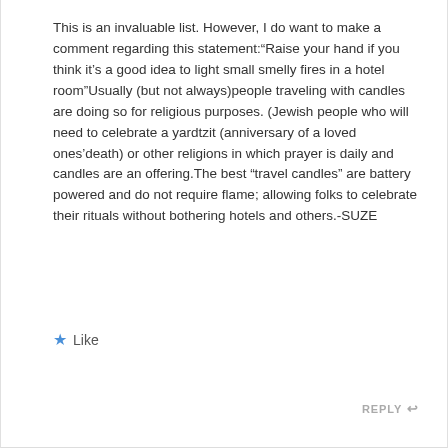This is an invaluable list. However, I do want to make a comment regarding this statement:“Raise your hand if you think it’s a good idea to light small smelly fires in a hotel room”Usually (but not always)people traveling with candles are doing so for religious purposes. (Jewish people who will need to celebrate a yardtzit (anniversary of a loved ones’death) or other religions in which prayer is daily and candles are an offering.The best “travel candles” are battery powered and do not require flame; allowing folks to celebrate their rituals without bothering hotels and others.-SUZE
★ Like
REPLY